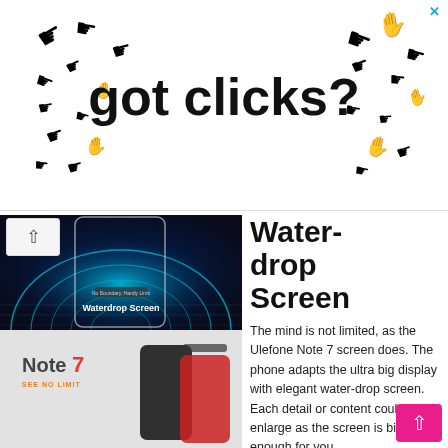[Figure (illustration): Advertisement banner with cursor/hand pointer icons around the text 'got clicks?' in a playful style on white background]
[Figure (photo): Ulefone Note 7 smartphone promotional image showing Waterdrop Screen with tunnel visual effect and blue neon lighting, text overlay 'Waterdrop Screen']
Waterdrop Screen
The mind is not limited, as the Ulefone Note 7 screen does. The phone adapts the ultra big display with elegant water-drop screen. Each detail or content could be enlarge as the screen is big enough for you.
[Figure (photo): Ulefone Note 7 promotional image showing the phone with 'Note 7 SEE NO LIMIT' branding on grey background]